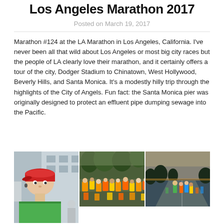Los Angeles Marathon 2017
Posted on March 19, 2017
Marathon #124 at the LA Marathon in Los Angeles, California. I've never been all that wild about Los Angeles or most big city races but the people of LA clearly love their marathon, and it certainly offers a tour of the city, Dodger Stadium to Chinatown, West Hollywood, Beverly Hills, and Santa Monica. It's a modestly hilly trip through the highlights of the City of Angels. Fun fact: the Santa Monica pier was originally designed to protect an effluent pipe dumping sewage into the Pacific.
[Figure (photo): Three photos side by side: left - runner with red cap and green shirt in selfie style; center - crowd of runners at start; right - runners on road at dawn/dusk]
For some reason they put me in a corral that roughly
Dodger Stadium exit